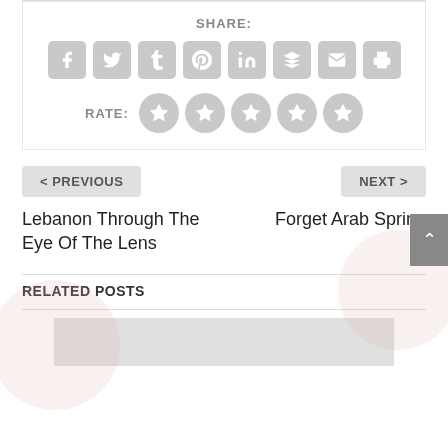SHARE:
[Figure (infographic): Social sharing icons: Facebook, Twitter, Tumblr, Pinterest, LinkedIn, Buffer, Email, Print — grey rounded square buttons]
RATE:
[Figure (infographic): Five grey star rating circles]
< PREVIOUS
NEXT >
Lebanon Through The Eye Of The Lens
Forget Arab Spring
RELATED POSTS